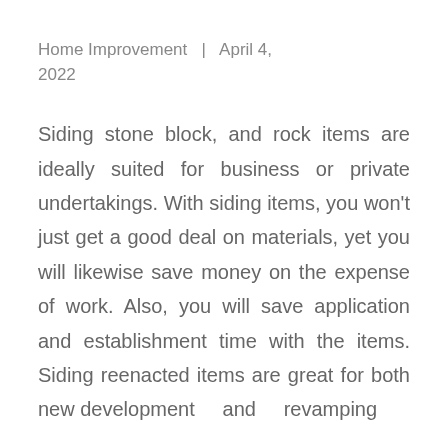Home Improvement  |  April 4, 2022
Siding stone block, and rock items are ideally suited for business or private undertakings. With siding items, you won't just get a good deal on materials, yet you will likewise save money on the expense of work. Also, you will save application and establishment time with the items. Siding reenacted items are great for both new development and revamping